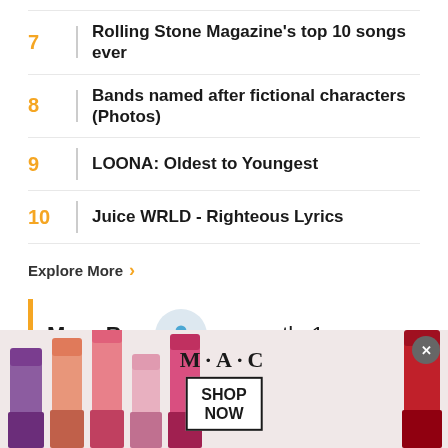7 | Rolling Stone Magazine's top 10 songs ever
8 | Bands named after fictional characters (Photos)
9 | LOONA: Oldest to Youngest
10 | Juice WRLD - Righteous Lyrics
Explore More ›
More By: amcarthy1
Quiz    Plays
[Figure (photo): MAC cosmetics advertisement showing lipsticks with MAC logo and SHOP NOW button]